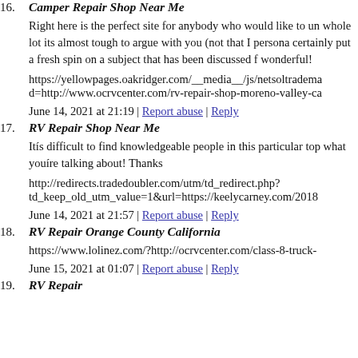16. Camper Repair Shop Near Me
Right here is the perfect site for anybody who would like to un whole lot its almost tough to argue with you (not that I persona certainly put a fresh spin on a subject that has been discussed f wonderful!
https://yellowpages.oakridger.com/__media__/js/netsoltradema d=http://www.ocrvcenter.com/rv-repair-shop-moreno-valley-ca
June 14, 2021 at 21:19 | Report abuse | Reply
17. RV Repair Shop Near Me
Itís difficult to find knowledgeable people in this particular top what youíre talking about! Thanks
http://redirects.tradedoubler.com/utm/td_redirect.php?td_keep_old_utm_value=1&url=https://keelycarney.com/2018
June 14, 2021 at 21:57 | Report abuse | Reply
18. RV Repair Orange County California
https://www.lolinez.com/?http://ocrvcenter.com/class-8-truck-
June 15, 2021 at 01:07 | Report abuse | Reply
19. RV Repair